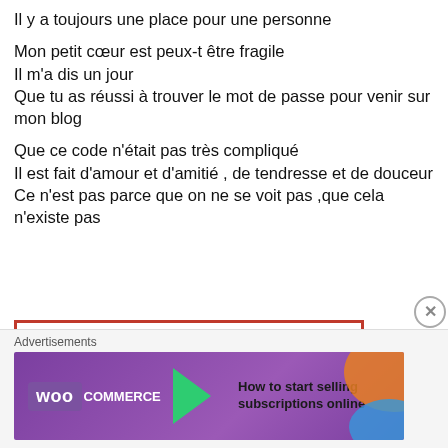Il y a toujours une place pour une personne
Mon petit cœur est peux-t être fragile
Il m'a dis un jour
Que tu as réussi à trouver le mot de passe pour venir sur mon blog
Que ce code n'était pas très compliqué
Il est fait d'amour et d'amitié , de tendresse et de douceur
Ce n'est pas parce que on ne se voit pas ,que cela n'existe pas
[Figure (illustration): Decorative card with red border and hearts at corners, italic text reading 'Accroche ce petit cœur à ton écran !!!!' with a red apple/heart clipart on the right]
Advertisements
[Figure (screenshot): WooCommerce advertisement banner with purple background, green arrow, and text 'How to start selling subscriptions online']